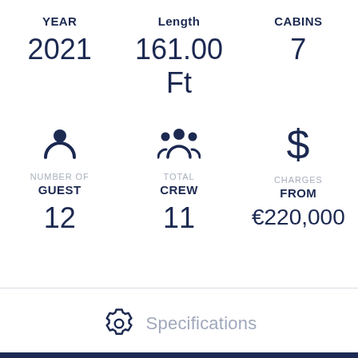YEAR
2021
Length
161.00 Ft
CABINS
7
NUMBER OF GUEST
12
TOTAL CREW
11
CHARGES FROM
€220,000
Specifications